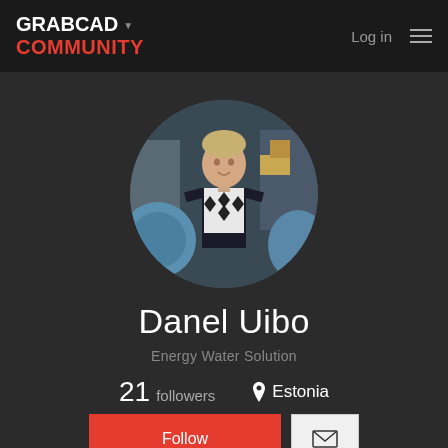GRABCAD COMMUNITY — Log in
[Figure (photo): Circular profile photo of Danel Uibo standing among engineering/industrial equipment]
Danel Uibo
Energy Water Solution
21 followers   Estonia
Follow  [message button]